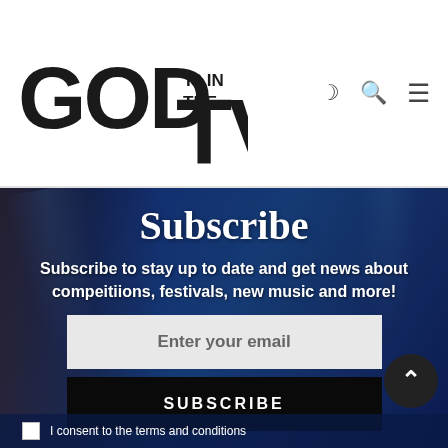[Figure (logo): GOD IS IN THE TV logo in bold black distressed font]
Subscribe
Subscribe to stay up to date and get news about compeitiions, festivals, new music and more!
Enter your email
SUBSCRIBE
I consent to the terms and conditions